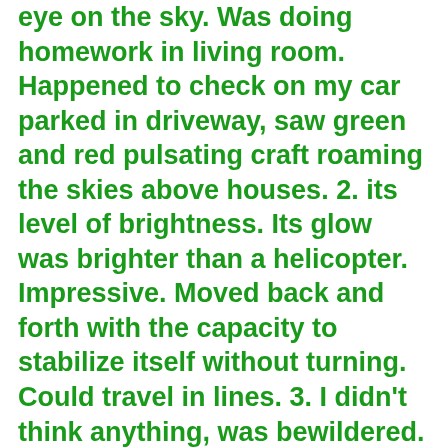eye on the sky. Was doing homework in living room. Happened to check on my car parked in driveway, saw green and red pulsating craft roaming the skies above houses. 2. its level of brightness. Its glow was brighter than a helicopter. Impressive. Moved back and forth with the capacity to stabilize itself without turning. Could travel in lines. 3. I didn't think anything, was bewildered. I've never seen a drone that was capable of this before. Had to investigate. 4. I got in my car and drove toward it to get a closer look. Drove under it as it hovered over one persons house. No traffic, it was dark, I stopped in the middle of road. Pulled out phone quickly. Saw it was about the size of a trashcan which in my mind struck me as strange since it was without sound, and large. No propellers could have lifted it. It was dark, the green lights were very bright, plasma like. radiated like balls of light, no rays of light, or spot lights came from it. Perfectly hovered. Followed it around, watching it go into peoples yards, up and down. Later as the night grew darker, two others appeared from above it. 5. Excited, was an awesome sight to see. weather it was a drone